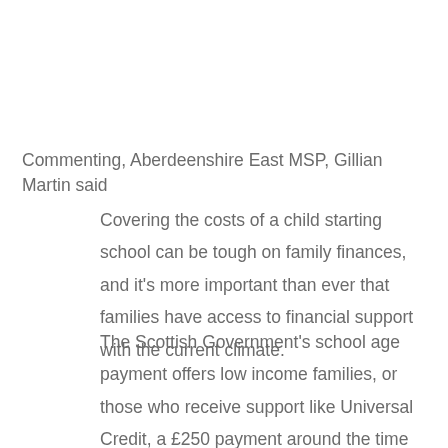Commenting, Aberdeenshire East MSP, Gillian Martin said
Covering the costs of a child starting school can be tough on family finances, and it's more important than ever that families have access to financial support with the current climate.
The Scottish Government's school age payment offers low income families, or those who receive support like Universal Credit, a £250 payment around the time children start at primary school.